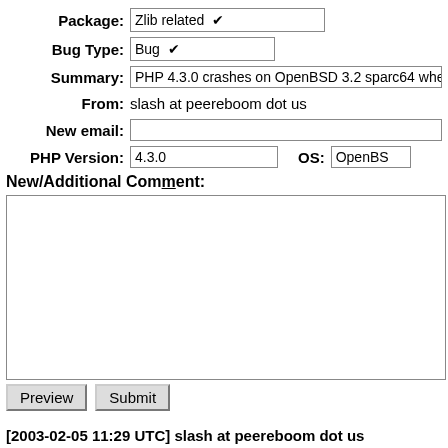Package: Zlib related
Bug Type: Bug
Summary: PHP 4.3.0 crashes on OpenBSD 3.2 sparc64 when zlib is
From: slash at peereboom dot us
New email:
PHP Version: 4.3.0  OS: OpenBS
New/Additional Comment:
Preview | Submit
[2003-02-05 11:29 UTC] slash at peereboom dot us
I posted the following email on the OpenBSD list and no

Email: